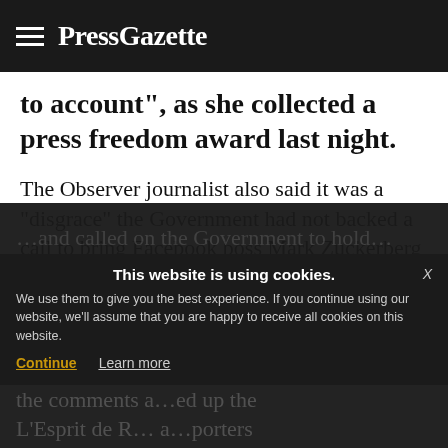PressGazette
to account", as she collected a press freedom award last night.
The Observer journalist also said it was a “disgrace” the Government had not backed a call to bring Facebook boss Mark Zuckerberg before MPs after he had rejected an invitation to come to the UK on four occasions.
This website is using cookies. We use them to give you the best experience. If you continue using our website, we’ll assume that you are happy to receive all cookies on this website. Continue  Learn more